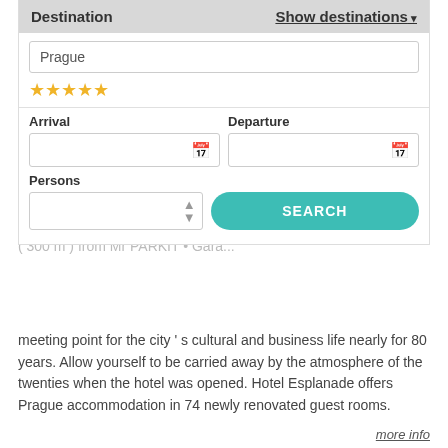Destination
Show destinations
Prague
★★★★★
Arrival
Departure
Persons
SEARCH
Prague centre → New Town, Prague 1 • ( 300 m ) from Mr PARKIT • Gara... Hotel Esplanade • 4 star, from category 5 star Prague hotel is located right in the heart of Milan's historical centre, across from to the meeting point for the city 's cultural and business life nearly for 80 years. Allow yourself to be carried away by the atmosphere of the twenties when the hotel was opened. Hotel Esplanade offers Prague accommodation in 74 newly renovated guest rooms.
more info
BOOK NOW
DETAIL